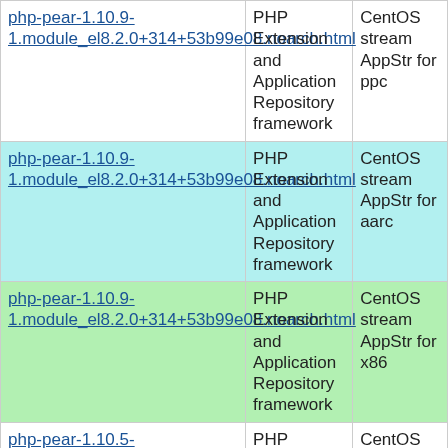| Package | Description | Repository |
| --- | --- | --- |
| php-pear-1.10.9-1.module_el8.2.0+314+53b99e08.noarch.html | PHP Extension and Application Repository framework | CentOS stream AppStr for ppc |
| php-pear-1.10.9-1.module_el8.2.0+314+53b99e08.noarch.html | PHP Extension and Application Repository framework | CentOS stream AppStr for aarc |
| php-pear-1.10.9-1.module_el8.2.0+314+53b99e08.noarch.html | PHP Extension and Application Repository framework | CentOS stream AppStr for x86 |
| php-pear-1.10.5-9.module_el8.2.0+313+b04d0a66.noarch.html | PHP Extension and Application Repository framework | CentOS stream AppStr for ppc |
| (partial) | PHP Extension | CentOS |